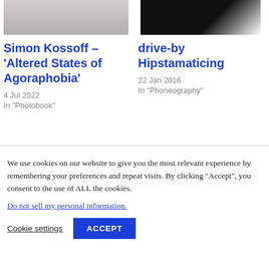[Figure (photo): Partial photo of a person, upper body, light background]
Simon Kossoff – 'Altered States of Agoraphobia'
4 Jul 2022
In "Photobook"
[Figure (photo): High contrast black and white photo, mostly dark with bright light source]
drive-by Hipstamaticing
22 Jan 2016
In "Phoneography"
We use cookies on our website to give you the most relevant experience by remembering your preferences and repeat visits. By clicking “Accept”, you consent to the use of ALL the cookies.
Do not sell my personal information.
Cookie settings
ACCEPT